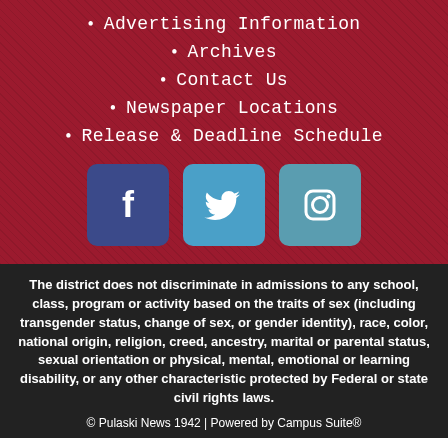Advertising Information
Archives
Contact Us
Newspaper Locations
Release & Deadline Schedule
[Figure (illustration): Social media icons: Facebook (blue square), Twitter (light blue square), Instagram (teal square)]
The district does not discriminate in admissions to any school, class, program or activity based on the traits of sex (including transgender status, change of sex, or gender identity), race, color, national origin, religion, creed, ancestry, marital or parental status, sexual orientation or physical, mental, emotional or learning disability, or any other characteristic protected by Federal or state civil rights laws.
© Pulaski News 1942 | Powered by Campus Suite®